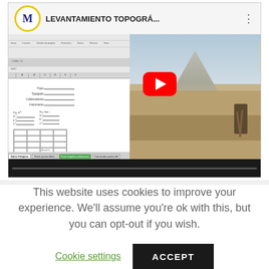[Figure (screenshot): YouTube video thumbnail for 'LEVANTAMIENTO TOPOGRÁ...' showing a split view of a Microsoft Excel spreadsheet on the left and a photo of a person doing topographic survey in a field on the right. A red YouTube play button is overlaid in the center.]
This website uses cookies to improve your experience. We'll assume you're ok with this, but you can opt-out if you wish.
Cookie settings
ACCEPT